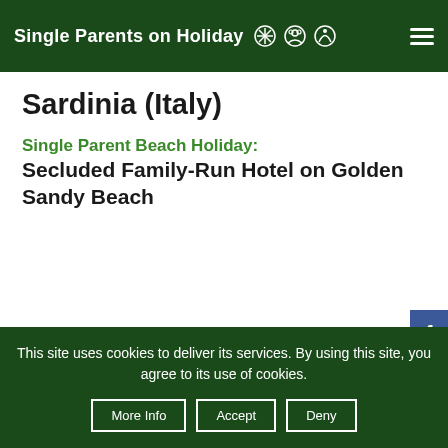Single Parents on Holiday
Sardinia (Italy)
Single Parent Beach Holiday:
Secluded Family-Run Hotel on Golden Sandy Beach
This site uses cookies to deliver its services. By using this site, you agree to its use of cookies.
More Info  Accept  Deny